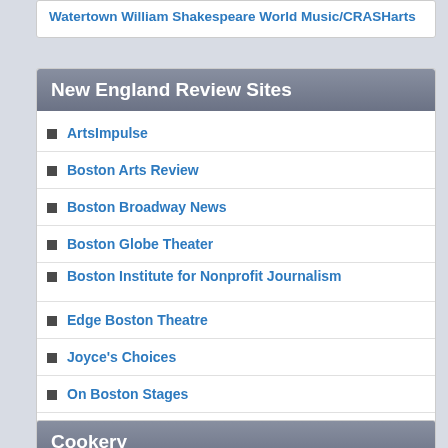Watertown William Shakespeare World Music/CRASHarts
New England Review Sites
ArtsImpulse
Boston Arts Review
Boston Broadway News
Boston Globe Theater
Boston Institute for Nonprofit Journalism
Edge Boston Theatre
Joyce's Choices
On Boston Stages
The Arts Fuse
The Sleepless Critic
Theatre Mirror Reviews
Wicked Local-Arts & Entertainment
Cookery